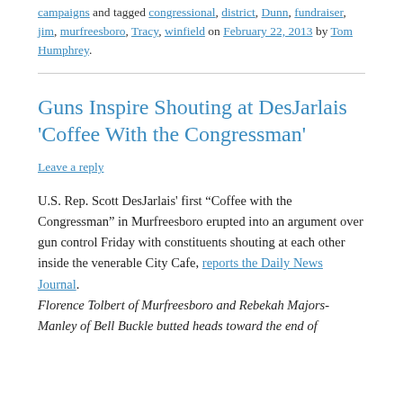campaigns and tagged congressional, district, Dunn, fundraiser, jim, murfreesboro, Tracy, winfield on February 22, 2013 by Tom Humphrey.
Guns Inspire Shouting at DesJarlais 'Coffee With the Congressman'
Leave a reply
U.S. Rep. Scott DesJarlais' first “Coffee with the Congressman” in Murfreesboro erupted into an argument over gun control Friday with constituents shouting at each other inside the venerable City Cafe, reports the Daily News Journal.
Florence Tolbert of Murfreesboro and Rebekah Majors-Manley of Bell Buckle butted heads toward the end of